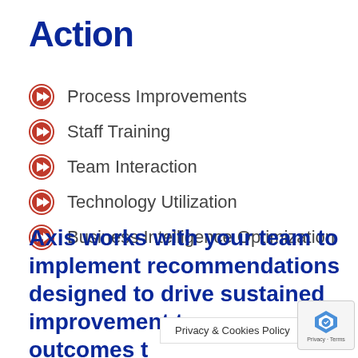Action
Process Improvements
Staff Training
Team Interaction
Technology Utilization
Business Intelligence Optimization
Axis works with your team to implement recommendations designed to drive sustained improvement to process outcomes to yo...